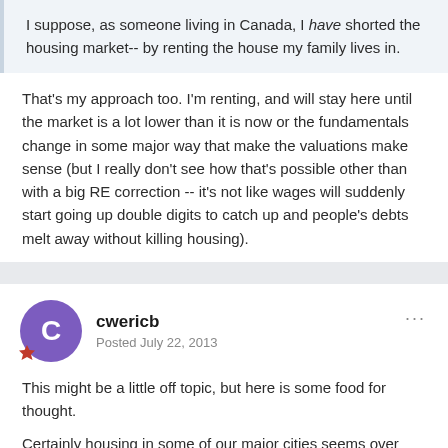I suppose, as someone living in Canada, I have shorted the housing market-- by renting the house my family lives in.
That's my approach too. I'm renting, and will stay here until the market is a lot lower than it is now or the fundamentals change in some major way that make the valuations make sense (but I really don't see how that's possible other than with a big RE correction -- it's not like wages will suddenly start going up double digits to catch up and people's debts melt away without killing housing).
cwericb
Posted July 22, 2013
This might be a little off topic, but here is some food for thought.
Certainly housing in some of our major cities seems over priced and a correction may be overdue, but in the longer term consider this.